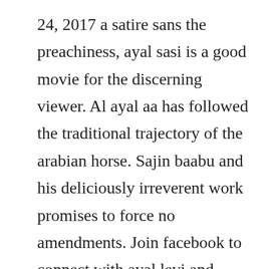24, 2017 a satire sans the preachiness, ayal sasi is a good movie for the discerning viewer. Al ayal aa has followed the traditional trajectory of the arabian horse. Sajin baabu and his deliciously irreverent work promises to force no amendments. Join facebook to connect with ayal levi and others you may know. Premiere shows and film festival screenings are not considered as releases for this list. She is without question the queen never to be replaced. Play full ayal njanalla in best look now you can download full ayal njanalla in best look with duration 148 min